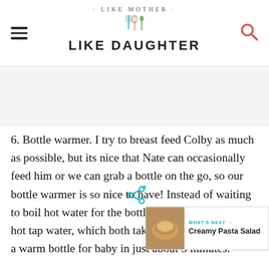· LIKE MOTHER · LIKE DAUGHTER
6. Bottle warmer. I try to breast feed Colby as much as possible, but its nice that Nate can occasionally feed him or we can grab a bottle on the go, so our bottle warmer is so nice to have! Instead of waiting to boil hot water for the bottle or running it under hot tap water, which both take so long, we can have a warm bottle for baby in just about 3 minutes.